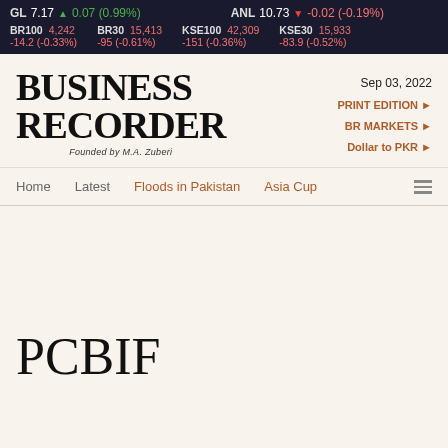GL 7.17 ▲ 0.07 (0.99%)   ANL 10.73 ▼ -0.02 (-0.19%)   BR100 4,242   BR30 15,413   KSE100 42,309   KSE30 15,933   -14.2 (-0.33%)   -95 (-0.61%)   -151 (-0.36%)   -83.9 (-0.52%)
[Figure (logo): Business Recorder logo - Founded by M.A. Zuberi]
Sep 03, 2022
PRINT EDITION ►
BR MARKETS ►
Dollar to PKR ►
Home   Latest   Floods in Pakistan   Asia Cup
PCBIF